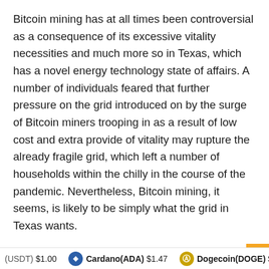Bitcoin mining has at all times been controversial as a consequence of its excessive vitality necessities and much more so in Texas, which has a novel energy technology state of affairs. A number of individuals feared that further pressure on the grid introduced on by the surge of Bitcoin miners trooping in as a result of low cost and extra provide of vitality may rupture the already fragile grid, which left a number of households within the chilly in the course of the pandemic. Nevertheless, Bitcoin mining, it seems, is likely to be simply what the grid in Texas wants.
The Texas grid requires versatile further demand that may scale down when provide is perfect and up when provide is extra, which is the function that Bitcoin miners have determined to take up. Notably, they've obtained vocal help from Texas lawmakers like Senator Ted Cruz, who see the potential alternative to re...
(USDT) $1.00   Cardano(ADA) $1.47   Dogecoin(DOGE) $0.306